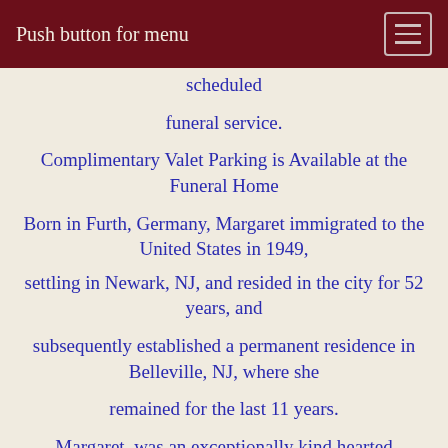Push button for menu
scheduled
funeral service.
Complimentary Valet Parking is Available at the Funeral Home
Born in Furth, Germany, Margaret immigrated to the United States in 1949,
settling in Newark, NJ, and resided in the city for 52 years, and
subsequently established a permanent residence in Belleville, NJ, where she
remained for the last 11 years.
Margaret, was an exceptionally kind hearted individual, who was